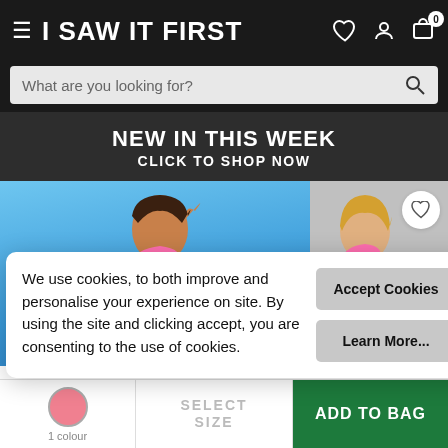I SAW IT FIRST
What are you looking for?
NEW IN THIS WEEK
CLICK TO SHOP NOW
[Figure (photo): Two fashion models wearing pink swimwear/bodysuits on coloured backgrounds]
We use cookies, to both improve and personalise your experience on site. By using the site and clicking accept, you are consenting to the use of cookies.
Accept Cookies
Learn More...
1 colour
SELECT SIZE
ADD TO BAG